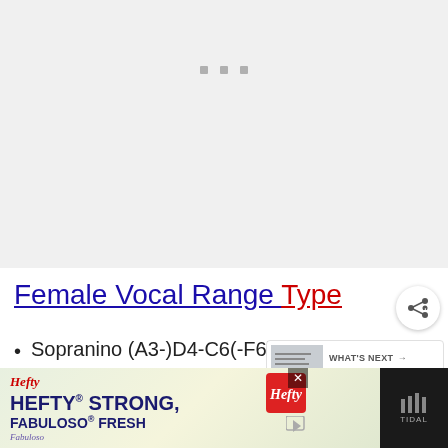[Figure (other): Three small gray square dots in the upper center area of the page on a light gray background]
Female Vocal Range Type
Sopranino (A3-)D4-C6(-F6)
[Figure (other): WHAT'S NEXT panel showing a thumbnail image and text 'Vocal Range Charts in 20...']
Soprano (F#3-)B3-A5(-D6)
[Figure (other): Hefty/Fabuloso advertisement banner at bottom: HEFTY STRONG, FABULOSO FRESH]